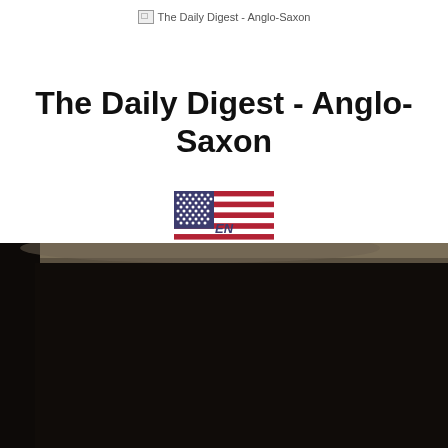The Daily Digest - Anglo-Saxon
The Daily Digest - Anglo-Saxon
[Figure (illustration): US flag icon with EN text overlay]
[Figure (photo): Dark photograph, mostly black, showing a dark scene with faint light at top]